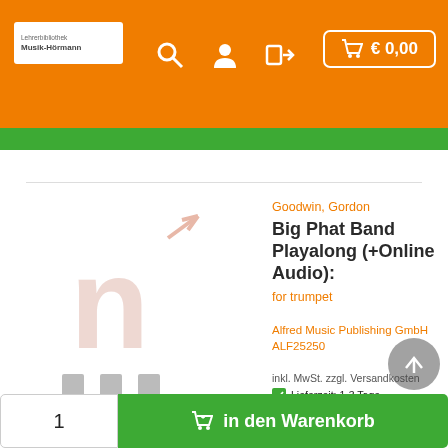€ 0,00
[Figure (screenshot): Product image placeholder with letter n and upward arrow icon]
Goodwin, Gordon
Big Phat Band Playalong (+Online Audio):
for trumpet
Alfred Music Publishing GmbH
ALF25250
inkl. MwSt. zzgl. Versandkosten
Lieferzeit: 1-3 Tage
€ 29,95
1
in den Warenkorb